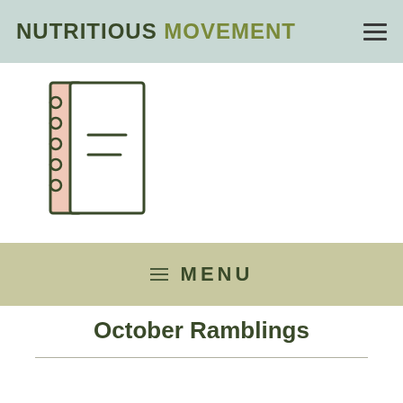NUTRITIOUS MOVEMENT
[Figure (illustration): Spiral-bound notebook icon with pink spine and white pages, featuring two horizontal lines on the page]
≡  MENU
October Ramblings